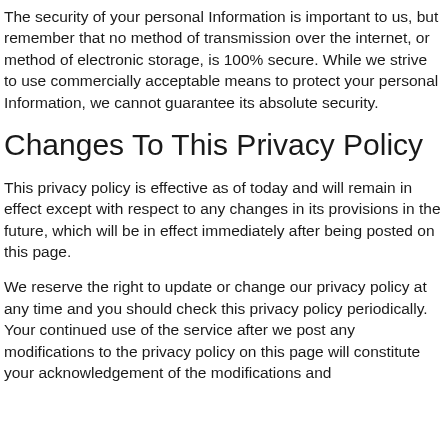The security of your personal Information is important to us, but remember that no method of transmission over the internet, or method of electronic storage, is 100% secure. While we strive to use commercially acceptable means to protect your personal Information, we cannot guarantee its absolute security.
Changes To This Privacy Policy
This privacy policy is effective as of today and will remain in effect except with respect to any changes in its provisions in the future, which will be in effect immediately after being posted on this page.
We reserve the right to update or change our privacy policy at any time and you should check this privacy policy periodically. Your continued use of the service after we post any modifications to the privacy policy on this page will constitute your acknowledgement of the modifications and